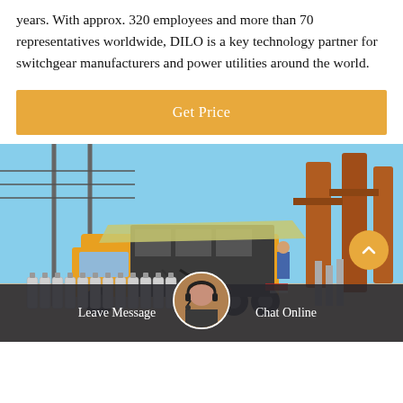years. With approx. 320 employees and more than 70 representatives worldwide, DILO is a key technology partner for switchgear manufacturers and power utilities around the world.
[Figure (other): Orange button labeled 'Get Price']
[Figure (photo): Photo of a yellow utility truck with gas cylinders at an electrical substation with high voltage equipment and power lines in the background.]
Leave Message
Chat Online